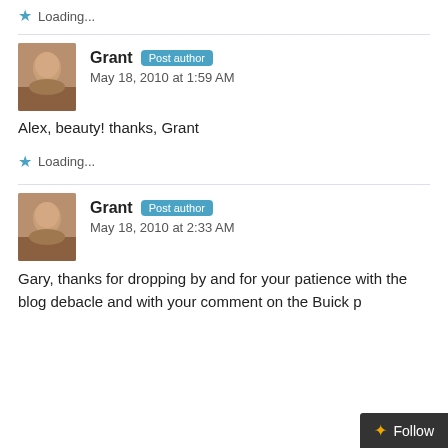Loading...
Grant Post author
May 18, 2010 at 1:59 AM
Alex, beauty! thanks, Grant
Loading...
Grant Post author
May 18, 2010 at 2:33 AM
Gary, thanks for dropping by and for your patience with the blog debacle and with your comment on the Buick p